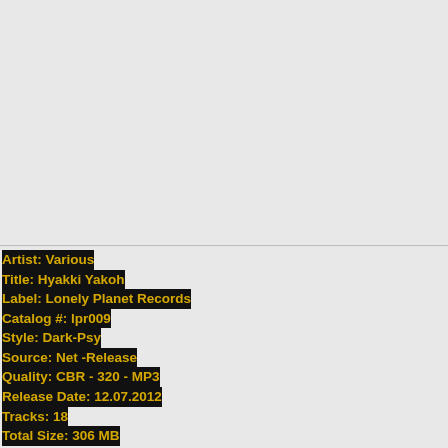[Figure (other): Album cover art area — empty gray rectangle at top of page]
Artist: Various
Title: Hyakki Yakoh
Label: Lonely Planet Records
Catalog #: lpr009
Style: Dark-Psy
Source: Net -Release
Quality: CBR - 320 - MP3
Release Date: 12.07.2012
Tracks: 18
Total Size: 306 MB
Parade l full power n smash ur brain side xD
1. Ape Rape - I Never Finish Anyth.. 172 bpm
2. Miracle's - Rocket launcher 162 bpm
3. Satyr Iasis - Anomaly 162 bpm
4. Lizergik Brain - Cualquiera puede no ser un borra 172 bpm